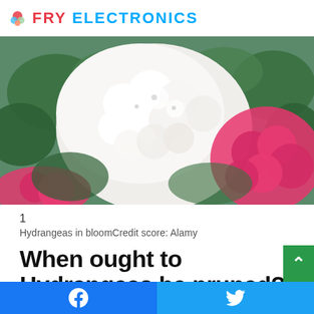FRY ELECTRONICS
[Figure (photo): Hydrangeas in bloom — white mophead hydrangea flowers and bright pink hydrangea flowers surrounded by green leaves]
1
Hydrangeas in bloomCredit score: Alamy
When ought to Hydrangeas be pruned?
Most UK gardens could have the mophead or lacecap spe of Hydrangea, which want pruning in late winter to early
Facebook share | Twitter share